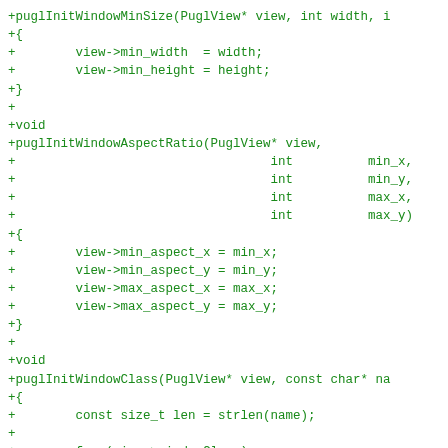+puglInitWindowMinSize(PuglView* view, int width, i
+{
+        view->min_width  = width;
+        view->min_height = height;
+}
+
+void
+puglInitWindowAspectRatio(PuglView* view,
+                                  int          min_x,
+                                  int          min_y,
+                                  int          max_x,
+                                  int          max_y)
+{
+        view->min_aspect_x = min_x;
+        view->min_aspect_y = min_y;
+        view->max_aspect_x = max_x;
+        view->max_aspect_y = max_y;
+}
+
+void
+puglInitWindowClass(PuglView* view, const char* na
+{
+        const size_t len = strlen(name);
+
+        free(view->windowClass);
+        view->windowClass = (char*)calloc(1, len +
+        memcpy(view->windowClass, name, len);
+}
+
+void